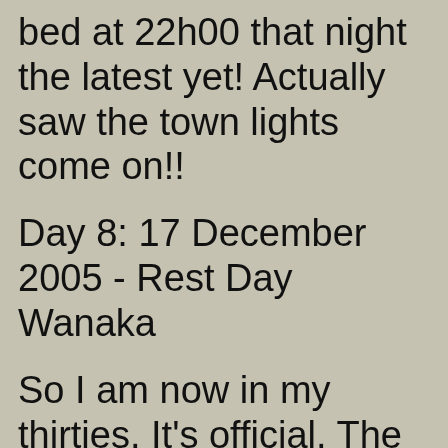bed at 22h00 that night the latest yet! Actually saw the town lights come on!!
Day 8: 17 December 2005 - Rest Day Wanaka
So I am now in my thirties. It's official. The